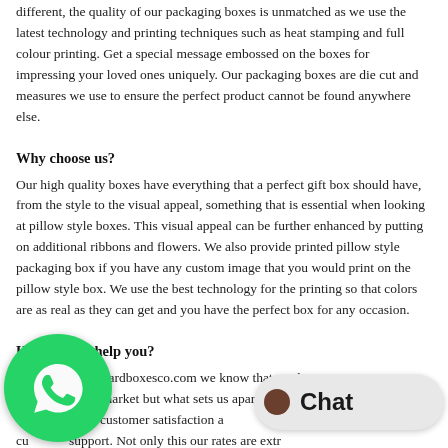different, the quality of our packaging boxes is unmatched as we use the latest technology and printing techniques such as heat stamping and full colour printing. Get a special message embossed on the boxes for impressing your loved ones uniquely. Our packaging boxes are die cut and measures we use to ensure the perfect product cannot be found anywhere else.
Why choose us?
Our high quality boxes have everything that a perfect gift box should have, from the style to the visual appeal, something that is essential when looking at pillow style boxes. This visual appeal can be further enhanced by putting on additional ribbons and flowers. We also provide printed pillow style packaging box if you have any custom image that you would print on the pillow style box. We use the best technology for the printing so that colors are as real as they can get and you have the perfect box for any occasion.
How we can help you?
At customcardboardboxesco.com we know that our boxes are not the boxes available in the market but what sets us apart from our unmatched customer satisfaction a... customer support. Not only this our rates are extro... so good quality packaging boxes at a decent amount, what more